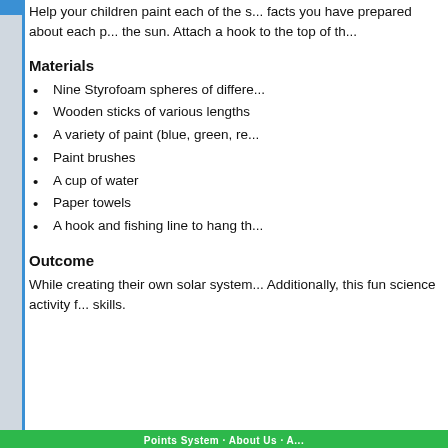Help your children paint each of the s... facts you have prepared about each p... the sun. Attach a hook to the top of th...
Materials
Nine Styrofoam spheres of differe...
Wooden sticks of various lengths
A variety of paint (blue, green, re...
Paint brushes
A cup of water
Paper towels
A hook and fishing line to hang th...
Outcome
While creating their own solar system... Additionally, this fun science activity f... skills.
Points System · About Us · A...